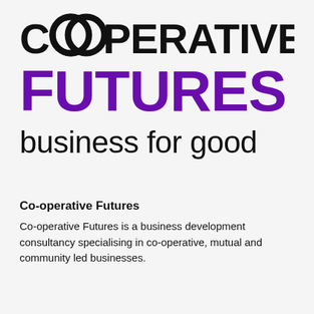[Figure (logo): Co-operative Futures logo: 'CO-OPERATIVE' in bold black with stylized double-O ring symbol, 'FUTURES' in large bold purple, 'business for good' in regular black below]
Co-operative Futures
Co-operative Futures is a business development consultancy specialising in co-operative, mutual and community led businesses.